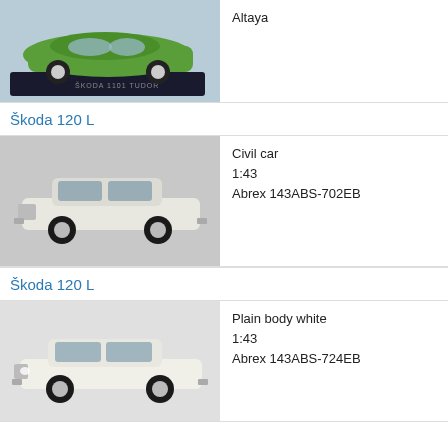[Figure (photo): Die-cast model of Skoda 1101 Tudor, green color, on a black base, labeled SKODA 1101 TUDOR]
Altaya
Škoda 120 L
[Figure (photo): Die-cast model of Skoda 120 L, white/cream color, 1:43 scale model]
Civil car
1:43
Abrex 143ABS-702EB
Škoda 120 L
[Figure (photo): Die-cast model of Skoda 120 L, plain body white, 1:43 scale model]
Plain body white
1:43
Abrex 143ABS-724EB